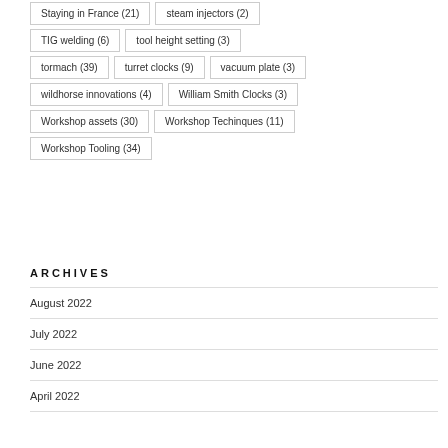Staying in France (21)
steam injectors (2)
TIG welding (6)
tool height setting (3)
tormach (39)
turret clocks (9)
vacuum plate (3)
wildhorse innovations (4)
William Smith Clocks (3)
Workshop assets (30)
Workshop Techinques (11)
Workshop Tooling (34)
ARCHIVES
August 2022
July 2022
June 2022
April 2022